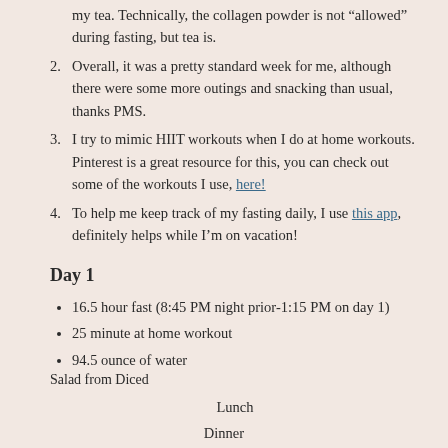my tea. Technically, the collagen powder is not "allowed" during fasting, but tea is.
Overall, it was a pretty standard week for me, although there were some more outings and snacking than usual, thanks PMS.
I try to mimic HIIT workouts when I do at home workouts. Pinterest is a great resource for this, you can check out some of the workouts I use, here!
To help me keep track of my fasting daily, I use this app, definitely helps while I’m on vacation!
Day 1
16.5 hour fast (8:45 PM night prior-1:15 PM on day 1)
25 minute at home workout
94.5 ounce of water
Lunch
Salad from Diced
Dinner